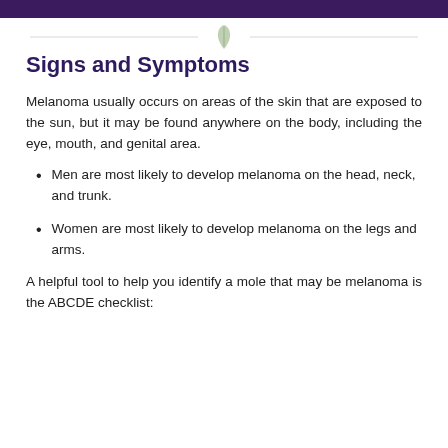Signs and Symptoms
Melanoma usually occurs on areas of the skin that are exposed to the sun, but it may be found anywhere on the body, including the eye, mouth, and genital area.
Men are most likely to develop melanoma on the head, neck, and trunk.
Women are most likely to develop melanoma on the legs and arms.
A helpful tool to help you identify a mole that may be melanoma is the ABCDE checklist: